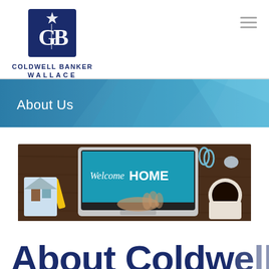[Figure (logo): Coldwell Banker Wallace logo — dark blue square with CB monogram and star, with text COLDWELL BANKER WALLACE below]
[Figure (other): Hamburger menu icon (three horizontal lines) in top right corner]
About Us
[Figure (photo): Overhead photo of person typing on laptop on a wooden desk. Laptop screen shows 'Welcome HOME' text. Coffee cup, paperclips, and other office items visible on desk.]
About Coldwell